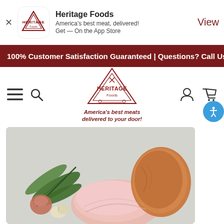[Figure (screenshot): Heritage Foods app banner with logo icon, app name, tagline 'America's best meat, delivered!', 'Get — On the App Store', and 'View' button]
100% Customer Satisfaction Guaranteed | Questions? Call Us ...
[Figure (logo): Heritage Foods logo — triangle badge with crossed utensils, text 'HERITAGE Foods', tagline 'America's best meats delivered to your door!']
[Figure (photo): Product photo of sliced ham/turkey with herbs (thyme), garlic and onion on a light grey background]